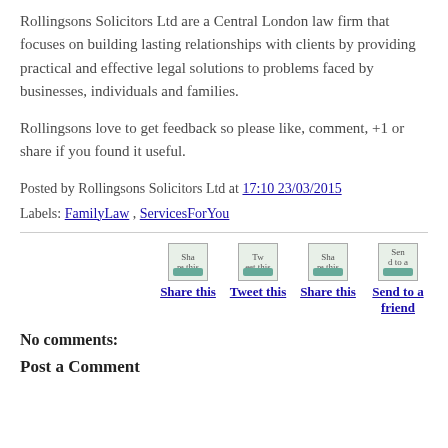Rollingsons Solicitors Ltd are a Central London law firm that focuses on building lasting relationships with clients by providing practical and effective legal solutions to problems faced by businesses, individuals and families.
Rollingsons love to get feedback so please like, comment, +1 or share if you found it useful.
Posted by Rollingsons Solicitors Ltd at 17:10 23/03/2015
Labels: FamilyLaw , ServicesForYou
[Figure (infographic): Row of four social sharing buttons with broken images: Share this, Tweet this, Share this, Send to a friend]
No comments:
Post a Comment